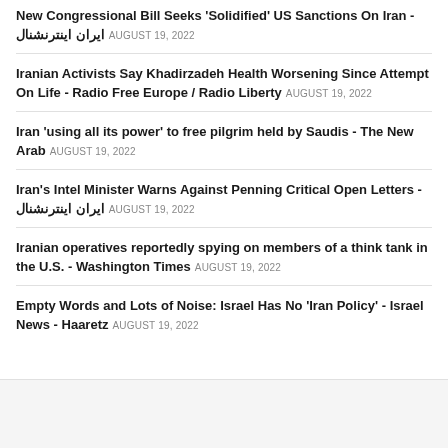New Congressional Bill Seeks 'Solidified' US Sanctions On Iran - ایران اینترنشنال AUGUST 19, 2022
Iranian Activists Say Khadirzadeh Health Worsening Since Attempt On Life - Radio Free Europe / Radio Liberty AUGUST 19, 2022
Iran 'using all its power' to free pilgrim held by Saudis - The New Arab AUGUST 19, 2022
Iran's Intel Minister Warns Against Penning Critical Open Letters - ایران اینترنشنال AUGUST 19, 2022
Iranian operatives reportedly spying on members of a think tank in the U.S. - Washington Times AUGUST 19, 2022
Empty Words and Lots of Noise: Israel Has No 'Iran Policy' - Israel News - Haaretz AUGUST 19, 2022